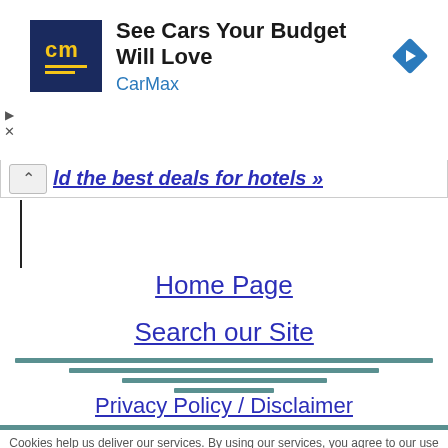[Figure (screenshot): CarMax advertisement banner with cm logo, headline 'See Cars Your Budget Will Love', brand name 'CarMax', and a blue diamond navigation icon on the right]
ld the best deals for hotels »
Home Page
Search our Site
Privacy Policy / Disclaimer
Cookies help us deliver our services. By using our services, you agree to our use of cookies. Learn more.
Got it!